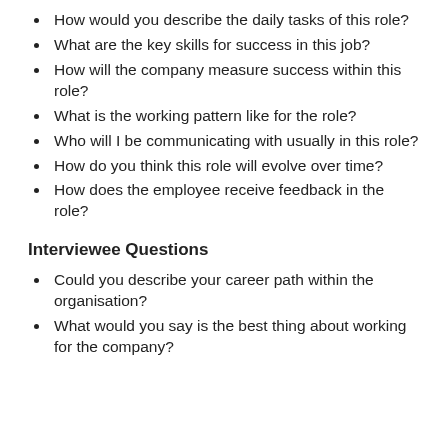How would you describe the daily tasks of this role?
What are the key skills for success in this job?
How will the company measure success within this role?
What is the working pattern like for the role?
Who will I be communicating with usually in this role?
How do you think this role will evolve over time?
How does the employee receive feedback in the role?
Interviewee Questions
Could you describe your career path within the organisation?
What would you say is the best thing about working for the company?